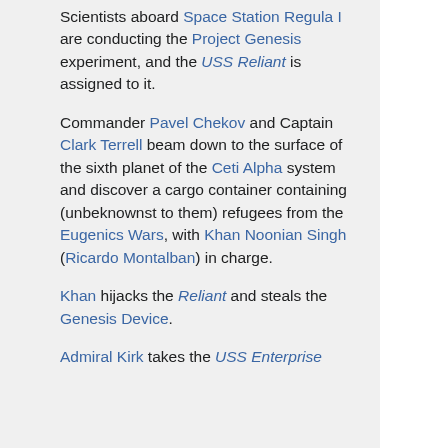Scientists aboard Space Station Regula I are conducting the Project Genesis experiment, and the USS Reliant is assigned to it.
Commander Pavel Chekov and Captain Clark Terrell beam down to the surface of the sixth planet of the Ceti Alpha system and discover a cargo container containing (unbeknownst to them) refugees from the Eugenics Wars, with Khan Noonian Singh (Ricardo Montalban) in charge.
Khan hijacks the Reliant and steals the Genesis Device.
Admiral Kirk takes the USS Enterprise